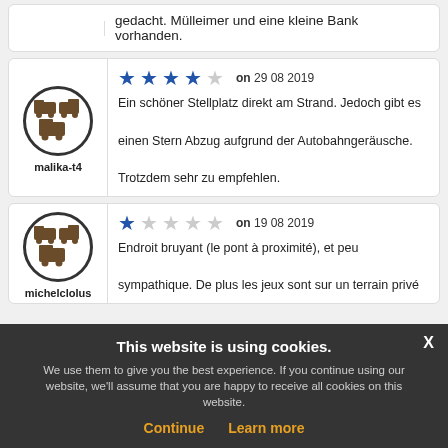gedacht. Mülleimer und eine kleine Bank vorhanden.
[Figure (illustration): User avatar with campervan icons, username malika-t4]
★★★★☆ on 29 08 2019 — Ein schöner Stellplatz direkt am Strand. Jedoch gibt es einen Stern Abzug aufgrund der Autobahngeräusche. Trotzdem sehr zu empfehlen.
[Figure (illustration): User avatar with campervan icons, username michelclolus]
★☆☆☆☆ on 19 08 2019 — Endroit bruyant (le pont à proximité), et peu sympathique. De plus les jeux sont sur un terrain privé
This website is using cookies. We use them to give you the best experience. If you continue using our website, we'll assume that you are happy to receive all cookies on this website. Continue | Learn more